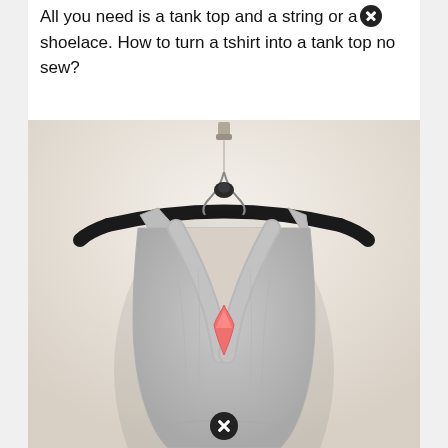All you need is a tank top and a string or a shoelace. How to turn a tshirt into a tank top no sew?
[Figure (photo): A gray sleeveless tank top / racerback shirt hanging on a black clothes hanger against a light beige/white wall. The back of the shirt shows a decorative cross-strap design gathered at the center with a pink/coral accent piece. The hanger is suspended from a small metal hook on the wall.]